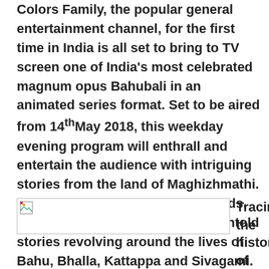Colors Family, the popular general entertainment channel, for the first time in India is all set to bring to TV screen one of India's most celebrated magnum opus Bahubali in an animated series format. Set to be aired from 14th May 2018, this weekday evening program will enthrall and entertain the audience with intriguing stories from the land of Maghizhmathi. A perfect summer time treat for kids, the series will showcase newer, untold stories revolving around the lives of Bahu, Bhalla, Kattappa and Sivagami.
[Figure (photo): Broken image placeholder]
Tracing the history of Bahubali ...